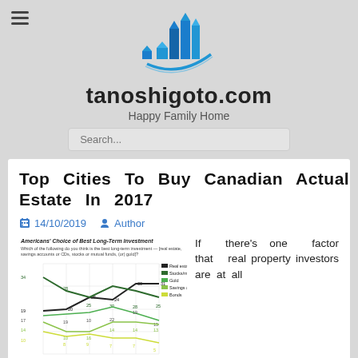tanoshigoto.com — Happy Family Home
Top Cities To Buy Canadian Actual Estate In 2017
14/10/2019  Author
[Figure (line-chart): Americans' Choice of Best Long-Term Investment]
If there's one factor that real property investors are at all